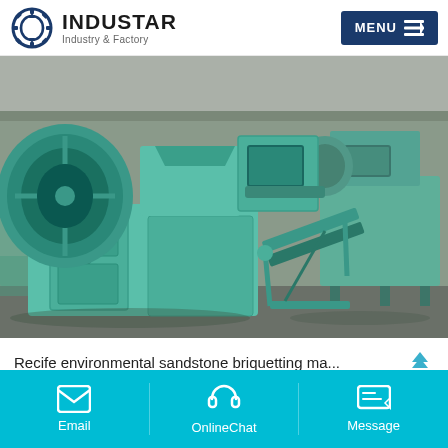INDUSTAR Industry & Factory | MENU
[Figure (photo): Industrial briquetting machines painted teal/turquoise color, multiple units in a factory/warehouse setting. Large disc flywheel visible on left unit, conveyor ramp on right.]
Recife environmental sandstone briquetting ma...
Email | OnlineChat | Message